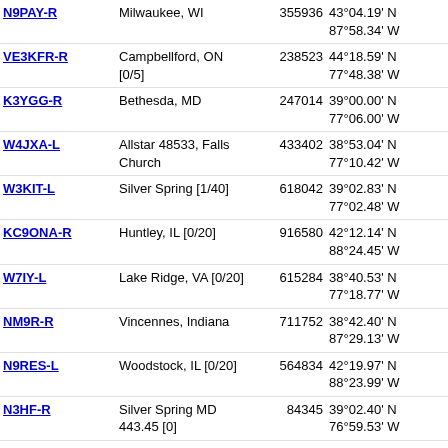| Callsign | Location | Node | Coordinates | Grid | Dist | Freq |
| --- | --- | --- | --- | --- | --- | --- |
| N9PAY-R | Milwaukee, WI | 355936 | 43°04.19' N 87°58.34' W | EN63ab | 315.2 | 443. |
| VE3KFR-R | Campbellford, ON [0/5] | 238523 | 44°18.59' N 77°48.38' W | FN14ch | 316.9 | 442. |
| K3YGG-R | Bethesda, MD | 247014 | 39°00.00' N 77°06.00' W | FM19ka | 317.4 | 145. |
| W4JXA-L | Allstar 48533, Falls Church | 433402 | 38°53.04' N 77°10.42' W | FM18jv | 318.1 |  |
| W3KIT-L | Silver Spring [1/40] | 618042 | 39°02.83' N 77°02.48' W | FM19lb | 318.5 |  |
| KC9ONA-R | Huntley, IL [0/20] | 916580 | 42°12.14' N 88°24.45' W | EN52te | 319.3 | 446. |
| W7IY-L | Lake Ridge, VA [0/20] | 615284 | 38°40.53' N 77°18.77' W | FM18iq | 319.7 | 147. |
| NM9R-R | Vincennes, Indiana | 711752 | 38°42.40' N 87°29.13' W | EM68gg | 320.7 | 443. |
| N9RES-L | Woodstock, IL [0/20] | 564834 | 42°19.97' N 88°23.99' W | EN52th | 320.7 | 446. |
| N3HF-R | Silver Spring MD 443.45 [0] | 84345 | 39°02.40' N 76°59.53' W | FM19ma | 321.1 | 443. |
| WB3GXW-R | Silver Spring, MD (1) | 147225 | 39°03.47' N 76°56.45' W | FM19mb | 322.9 | 147. |
| KC9ONY-L | Cedarburg, WI [0/20] | 863395 | 43°18.50' N 87°59.78' W | EN63ah | 323.0 |  |
| W6WNG-L | San Carlos, CA [0/20] | 151182 | 40°00.23' N 76°23.14' W | FN10ta | 325.0 |  |
| N3XL-R | PG County, MD | 932157 | 38°56.55' N | FM18mw | 325.2 | 14. |